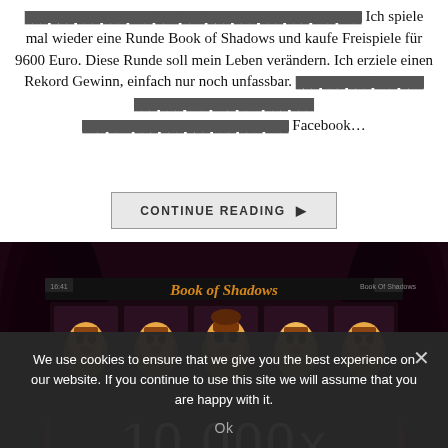[redacted] Ich spiele mal wieder eine Runde Book of Shadows und kaufe Freispiele für 9600 Euro. Diese Runde soll mein Leben verändern. Ich erziele einen Rekord Gewinn, einfach nur noch unfassbar. [redacted] Facebook...
CONTINUE READING ▶
[Figure (screenshot): Screenshot of a slot machine game 'Book of Shadows' showing '10.000x' win multiplier with character symbols on the reels, dark fantasy theme with orange/red glowing background.]
We use cookies to ensure that we give you the best experience on our website. If you continue to use this site we will assume that you are happy with it.
Ok